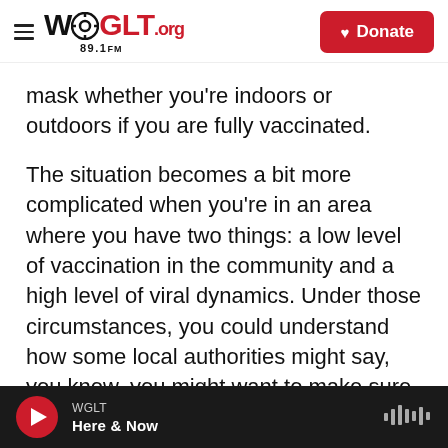WGLT.org 89.1FM [Donate]
mask whether you're indoors or outdoors if you are fully vaccinated.
The situation becomes a bit more complicated when you're in an area where you have two things: a low level of vaccination in the community and a high level of viral dynamics. Under those circumstances, you could understand how some local authorities might say, you know, you might want to make sure you get the extra added benefit of having a mask. Although that is not a CDC recommendation, it is something that some people are considering, particularly the elderly and those
WGLT · Here & Now